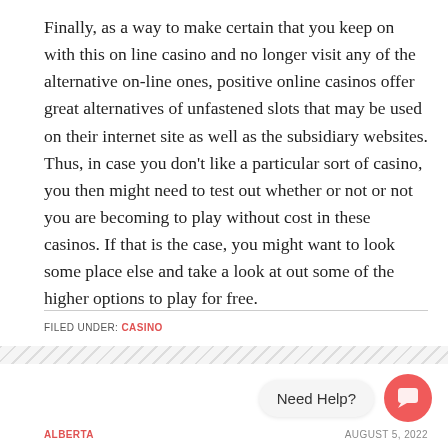Finally, as a way to make certain that you keep on with this on line casino and no longer visit any of the alternative on-line ones, positive online casinos offer great alternatives of unfastened slots that may be used on their internet site as well as the subsidiary websites. Thus, in case you don’t like a particular sort of casino, you then might need to test out whether or not or not you are becoming to play without cost in these casinos. If that is the case, you might want to look some place else and take a look at out some of the higher options to play for free.
FILED UNDER: CASINO
[Figure (other): Hatched decorative bar separator]
Need Help?
ALBERTA                                                              AUGUST 5, 2022